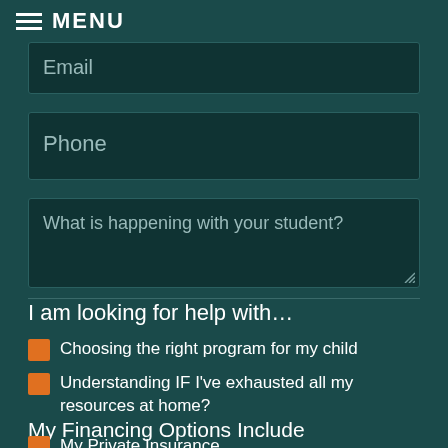MENU
Email
Phone
What is happening with your student?
I am looking for help with…
Choosing the right program for my child
Understanding IF I've exhausted all my resources at home?
My Financing Options Include
My Private Insurance